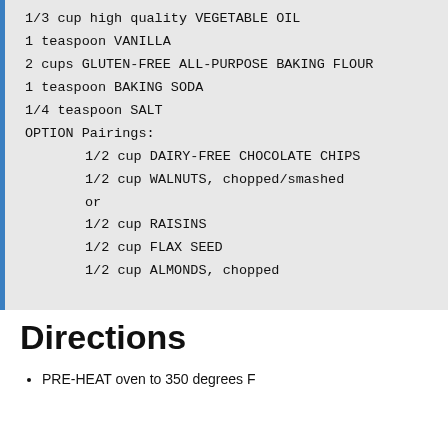1/3 cup high quality VEGETABLE OIL
1 teaspoon VANILLA
2 cups GLUTEN-FREE ALL-PURPOSE BAKING FLOUR
1 teaspoon BAKING SODA
1/4 teaspoon SALT
OPTION Pairings:
1/2 cup DAIRY-FREE CHOCOLATE CHIPS
1/2 cup WALNUTS, chopped/smashed
or
1/2 cup RAISINS
1/2 cup FLAX SEED
1/2 cup ALMONDS, chopped
Directions
PRE-HEAT oven to 350 degrees F